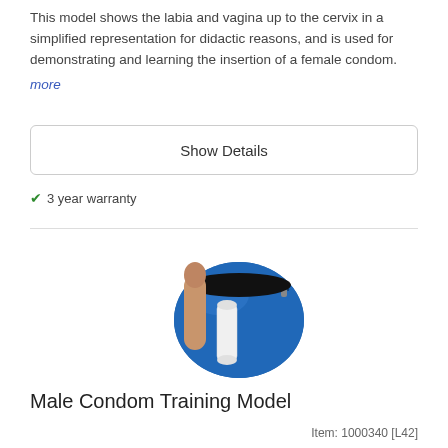This model shows the labia and vagina up to the cervix in a simplified representation for didactic reasons, and is used for demonstrating and learning the insertion of a female condom. more
Show Details
✔ 3 year warranty
[Figure (photo): Male Condom Training Model product photo showing a phallic model and a cylindrical object in front of a blue zip-up carrying case]
Male Condom Training Model
Item: 1000340 [L42]